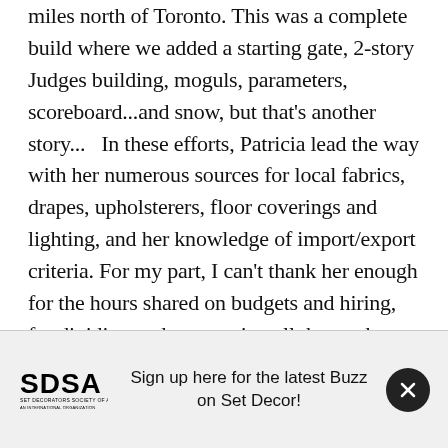miles north of Toronto. This was a complete build where we added a starting gate, 2-story Judges building, moguls, parameters, scoreboard...and snow, but that's another story...   In these efforts, Patricia lead the way with her numerous sources for local fabrics, drapes, upholsterers, floor coverings and lighting, and her knowledge of import/export criteria. For my part, I can't thank her enough for the hours shared on budgets and hiring, for dividing and conquering all the work within a
[Figure (logo): SDSA Set Decorators Society of America logo]
Sign up here for the latest Buzz on Set Decor!